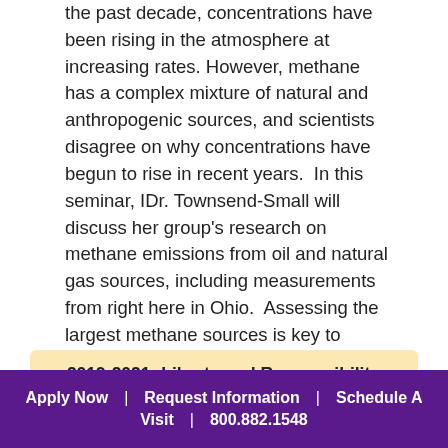the past decade, concentrations have been rising in the atmosphere at increasing rates. However, methane has a complex mixture of natural and anthropogenic sources, and scientists disagree on why concentrations have begun to rise in recent years. In this seminar, IDr. Townsend-Small will discuss her group's research on methane emissions from oil and natural gas sources, including measurements from right here in Ohio. Assessing the largest methane sources is key to controlling the emissions of this dangerous climate forcer.
2019-2021: Liberty and Responsibility
2018-2019: Ohio Citizen Science
Apply Now | Request Information | Schedule A Visit | 800.882.1548